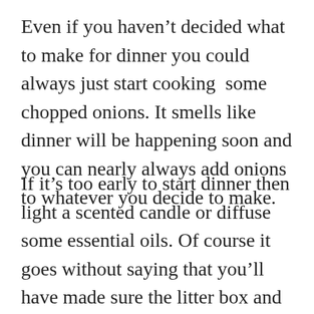Even if you haven't decided what to make for dinner you could always just start cooking some chopped onions. It smells like dinner will be happening soon and you can nearly always add onions to whatever you decide to make.
If it's too early to start dinner then light a scented candle or diffuse some essential oils. Of course it goes without saying that you'll have made sure the litter box and garbage can have been tended to.